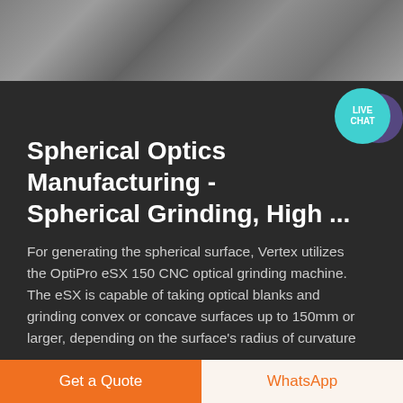[Figure (photo): Industrial manufacturing environment, blurred background photo showing machinery and equipment in a factory setting]
Spherical Optics Manufacturing - Spherical Grinding, High ...
For generating the spherical surface, Vertex utilizes the OptiPro eSX 150 CNC optical grinding machine. The eSX is capable of taking optical blanks and grinding convex or concave surfaces up to 150mm or larger, depending on the surface's radius of curvature
Get a Quote
WhatsApp